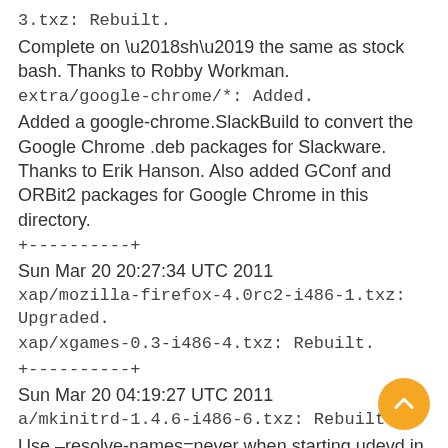3.txz: Rebuilt.
Complete on ‘sh’ the same as stock bash. Thanks to Robby Workman.
extra/google-chrome/*: Added.
Added a google-chrome.SlackBuild to convert the Google Chrome .deb packages for Slackware. Thanks to Erik Hanson. Also added GConf and ORBit2 packages for Google Chrome in this directory.
+----------+
Sun Mar 20 20:27:34 UTC 2011
xap/mozilla-firefox-4.0rc2-i486-1.txz: Upgraded.
xap/xgames-0.3-i486-4.txz: Rebuilt.
+----------+
Sun Mar 20 04:19:27 UTC 2011
a/mkinitrd-1.4.6-i486-6.txz: Rebuilt.
Use –resolve-names=never when starting udevd in the initrd.